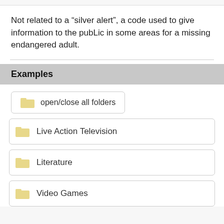Not related to a “silver alert”, a code used to give information to the pubLic in some areas for a missing endangered adult.
Examples
open/close all folders
Live Action Television
Literature
Video Games